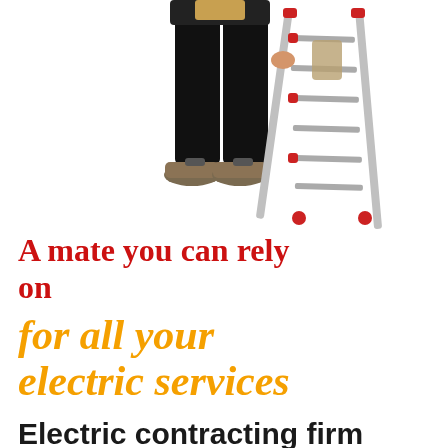[Figure (photo): Lower half of a worker in black clothing and boots standing next to a folding metal stepladder with red accents, on a white background]
A mate you can rely on
for all your electric services
Electric contracting firm